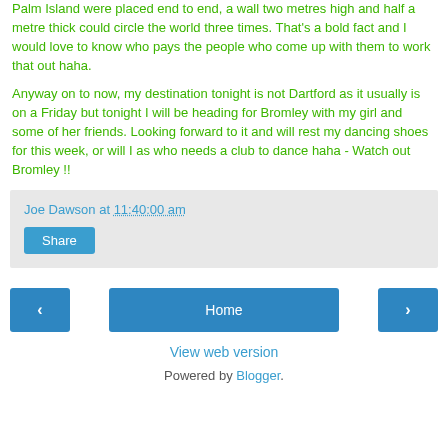Palm Island were placed end to end, a wall two metres high and half a metre thick could circle the world three times. That's a bold fact and I would love to know who pays the people who come up with them to work that out haha.
Anyway on to now, my destination tonight is not Dartford as it usually is on a Friday but tonight I will be heading for Bromley with my girl and some of her friends. Looking forward to it and will rest my dancing shoes for this week, or will I as who needs a club to dance haha - Watch out Bromley !!
Joe Dawson at 11:40:00 am
Share
Home
View web version
Powered by Blogger.